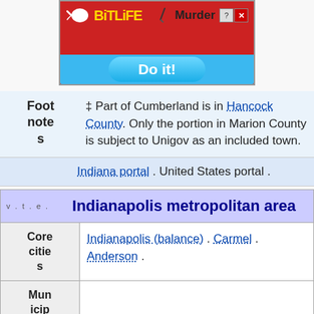[Figure (other): BitLife mobile game advertisement banner with red background, sperm logo, gold 'BitLife' text, 'Murder' text in black, close/help buttons, and a blue 'Do it!' button]
‡ Part of Cumberland is in Hancock County. Only the portion in Marion County is subject to Unigov as an included town.
Indiana portal . United States portal .
Indianapolis metropolitan area
|  |  |
| --- | --- |
| Core cities | Indianapolis (balance) . Carmel . Anderson . |
| Municipalities with pop | Avon . Brownsburg . Fishers . Franklin . |